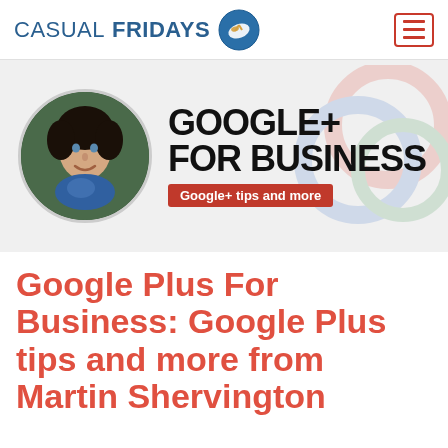CASUAL FRIDAYS
[Figure (logo): Casual Fridays logo with flip-flop icon inside a blue circle, and a red hamburger menu button on the right]
[Figure (infographic): Banner image with circular photo of Martin Shervington on the left, large bold text GOOGLE+ FOR BUSINESS with Google circle watermarks in background, and a red pill badge reading Google+ tips and more]
Google Plus For Business: Google Plus tips and more from Martin Shervington